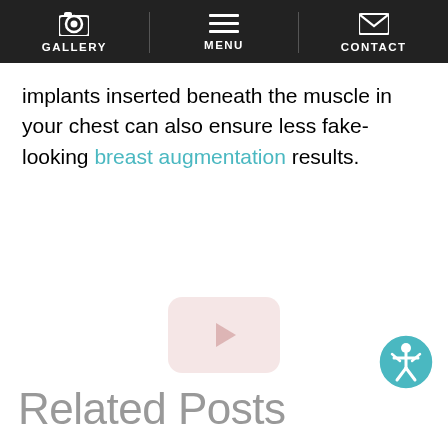GALLERY | MENU | CONTACT
implants inserted beneath the muscle in your chest can also ensure less fake-looking breast augmentation results.
[Figure (other): Video play button placeholder - rounded rectangle with play triangle icon in pinkish color]
[Figure (other): Accessibility icon - teal circular button with person/wheelchair symbol]
Related Posts